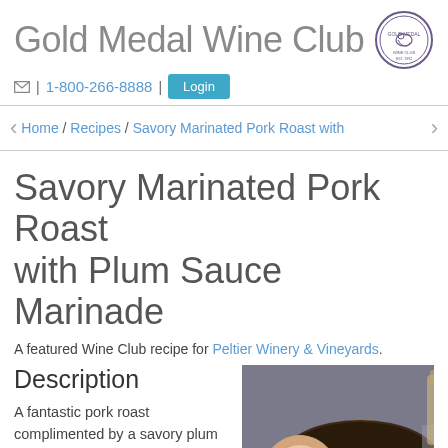Gold Medal Wine Club
✉ | 1-800-266-8888 | Login
Home / Recipes / Savory Marinated Pork Roast with
Savory Marinated Pork Roast with Plum Sauce Marinade
A featured Wine Club recipe for Peltier Winery & Vineyards.
Description
A fantastic pork roast complimented by a savory plum sauce marinade. Be sure to pair this amazing meal with a bottle of Petite
[Figure (photo): Photo of a sliced roasted pork roast with dark crust and herbs, on a surface]